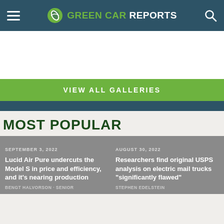GREEN CAR REPORTS
[Figure (other): White advertisement/gallery space]
VIEW ALL GALLERIES
MOST POPULAR
SEPTEMBER 3, 2022
Lucid Air Pure undercuts the Model S in price and efficiency, and it's nearing production
BENGT HALVORSON · SENIOR
AUGUST 30, 2022
Researchers find original USPS analysis on electric mail trucks "significantly flawed"
STEPHEN EDELSTEIN